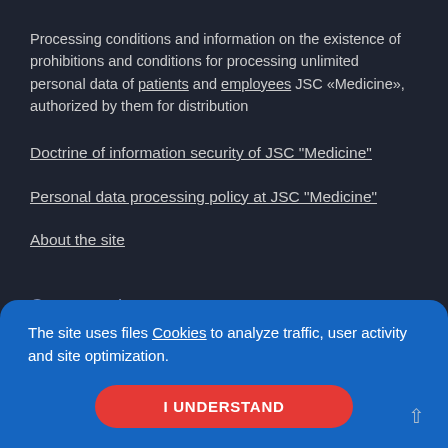Processing conditions and information on the existence of prohibitions and conditions for processing unlimited personal data of patients and employees JSC «Medicine», authorized by them for distribution
Doctrine of information security of JSC "Medicine"
Personal data processing policy at JSC "Medicine"
About the site
Corporate Internet resources
Social...
Emergency
Medical books
The site uses files Cookies to analyze traffic, user activity and site optimization.